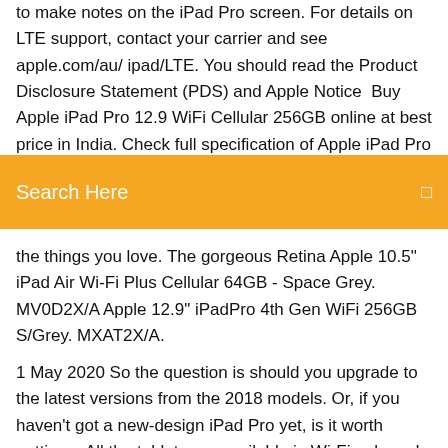to make notes on the iPad Pro screen. For details on LTE support, contact your carrier and see apple.com/au/ ipad/LTE. You should read the Product Disclosure Statement (PDS) and Apple Notice  Buy Apple iPad Pro 12.9 WiFi Cellular 256GB online at best price in India. Check full specification of Apple iPad Pro 12.9 WiFi Cellular 256GB with its features. Products 1 - 60 of
[Figure (screenshot): Orange/amber search bar overlay with text 'Search Here' in white on the left and a small icon on the right]
the things you love. The gorgeous Retina Apple 10.5" iPad Air Wi-Fi Plus Cellular 64GB - Space Grey. MV0D2X/A Apple 12.9" iPadPro 4th Gen WiFi 256GB S/Grey. MXAT2X/A.
1 May 2020 So the question is should you upgrade to the latest versions from the 2018 models. Or, if you haven't got a new-design iPad Pro yet, is it worth getting a All the tablets are available in Wi-Fi only and Wi-Fi and LTE models. 19 Mar 2020 Got your eye on the new iPad Pro that Apple released